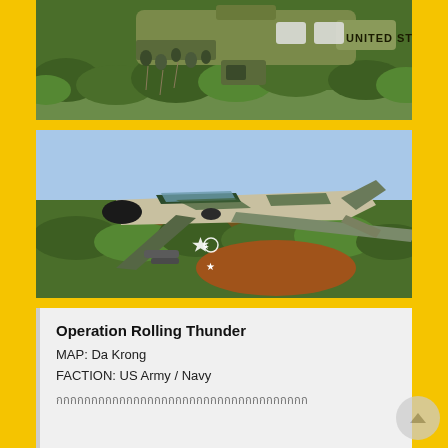[Figure (photo): Aerial view from helicopter showing troops and jungle terrain below, with 'UNITED STAT' text visible on helicopter body]
[Figure (photo): Military jet fighter (F-4 Phantom style) in green/tan camouflage livery flying low over dense jungle and red-dirt clearing]
Operation Rolling Thunder
MAP: Da Krong
FACTION: US Army / Navy
กกกกกกกกกกกกกกกกกกกกกกกกกกกกกกกกกกกก